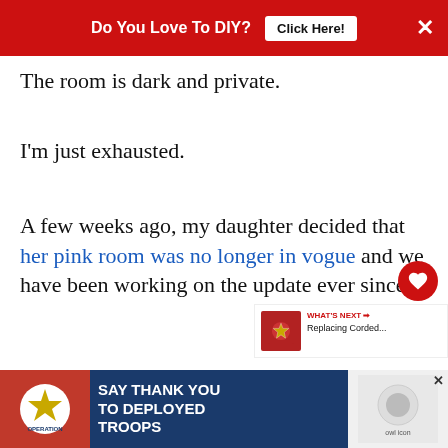Do You Love To DIY? | Click Here! | ×
The room is dark and private.
I'm just exhausted.
A few weeks ago, my daughter decided that her pink room was no longer in vogue and we have been working on the update ever since.
She has opted for a neutral, earthly boho lo...
[Figure (other): Bottom advertisement banner: Operation Gratitude - SAY THANK YOU TO DEPLOYED TROOPS]
[Figure (other): Right side social buttons: heart/favorite and share icons]
[Figure (other): What's Next widget: Replacing Corded...]